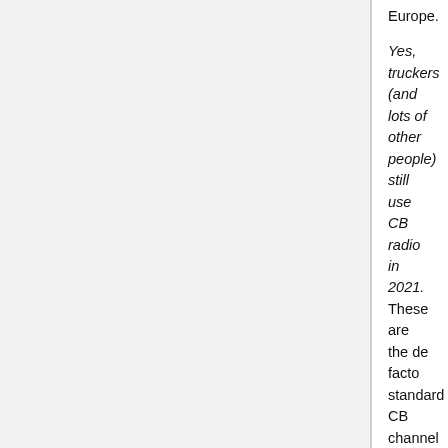Europe.
Yes, truckers (and lots of other people) still use CB radio in 2021. These are the de facto standard CB channel frequencies. Depending on where you're located they're the American CB radio channels, 27 MHz CB channels, the mid band channels, the CEPT channels or the European/EU channels.
CEPT European CE EU standardization permits 4 watt carrier power on AM, 4 watt power on FM and 12 watt power (PEP) on SSB. Maximum deviation in FM mode as defined in ETSI EN 300 433 as a maximum deviation from carrier frequency of 2 kHz. This translates to 8 kHz bandwidth or 8K00F3E emission. Transmitter power in AM and SSB modes is specifically measured with no modulation present.
Channel usage is mostly focused on US or American CB radio habits, although information relating to the rest of North America as well as Central America, South America and the Caribbean has been included where available